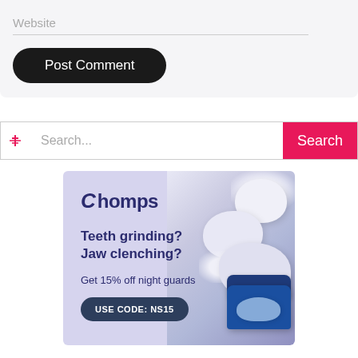Website
Post Comment
Search...
Search
[Figure (illustration): Chomps dental night guard advertisement. Shows Chomps logo, text 'Teeth grinding? Jaw clenching? Get 15% off night guards USE CODE: NS15'. Right side shows photo of dental mouthguards and a blue case on a purple background.]